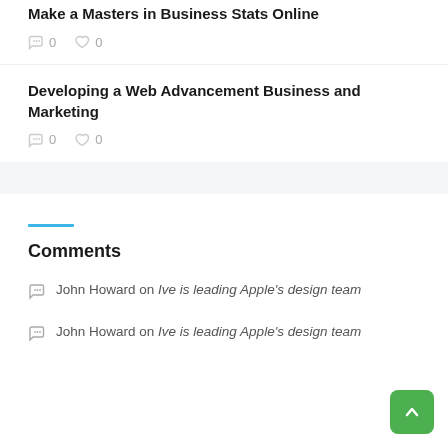Make a Masters in Business Stats Online
0  0
Developing a Web Advancement Business and Marketing
0  0
Comments
John Howard on Ive is leading Apple's design team
John Howard on Ive is leading Apple's design team